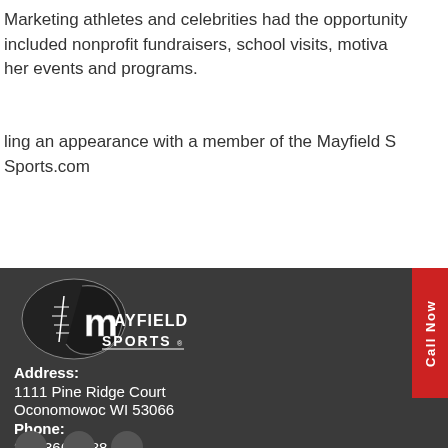Marketing athletes and celebrities had the opportunity... included nonprofit fundraisers, school visits, motivational her events and programs.
ling an appearance with a member of the Mayfield Sports.com
[Figure (logo): Mayfield Sports logo with football and helmet graphic, black and white on dark background]
Call Now
Address: 1111 Pine Ridge Court Oconomowoc WI 53066 Phone: 262-366-8188